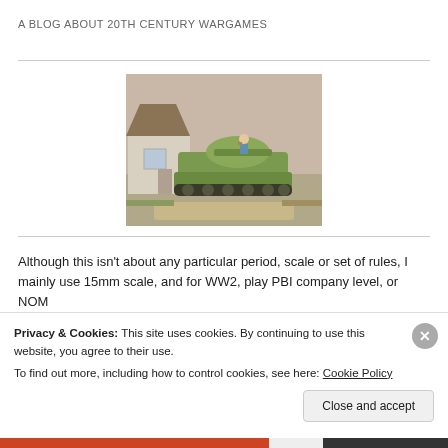A BLOG ABOUT 20th CENTURY WARGAMES
[Figure (photo): Photograph of a painted 15mm scale WWII tank miniature (appears to be an M4 Sherman or similar green tank) with a figure on top, staged on a diorama base with a thatched-roof building in the background.]
Although this isn't about any particular period, scale or set of rules, I mainly use 15mm scale, and for WW2, play PBI company level, or NOM
Privacy & Cookies: This site uses cookies. By continuing to use this website, you agree to their use.
To find out more, including how to control cookies, see here: Cookie Policy
Close and accept